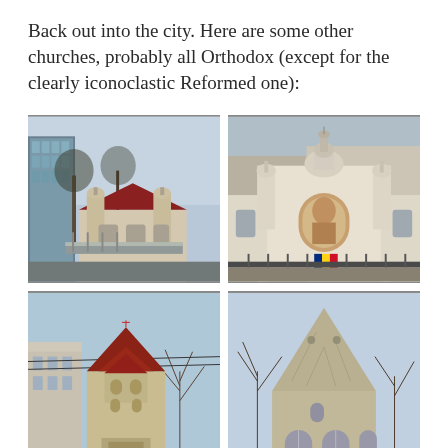Back out into the city. Here are some other churches, probably all Orthodox (except for the clearly iconoclastic Reformed one):
[Figure (photo): Photo of a church with two small towers and a red roof, viewed from across a street with modern glass building on the left and bare trees.]
[Figure (photo): Photo of a white Orthodox church with a dome, arched entrance with religious painting, and Romanian flag displayed.]
[Figure (photo): Photo of a smaller Orthodox church tower with red tile roof and cross on top, decorated windows, surrounded by bare trees and apartment buildings.]
[Figure (photo): Photo of a plain stone Reformed church with a large steep triangular gable, Gothic arch windows at the base, bare trees on the sides.]